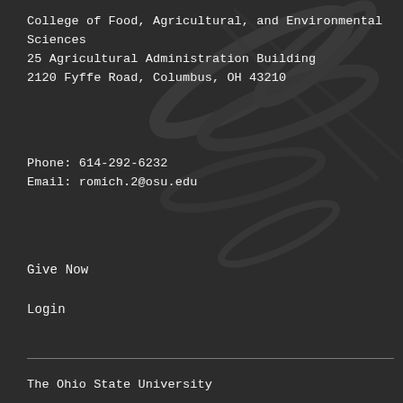College of Food, Agricultural, and Environmental Sciences
25 Agricultural Administration Building
2120 Fyffe Road, Columbus, OH 43210
Phone: 614-292-6232
Email: romich.2@osu.edu
Give Now
Login
The Ohio State University
College of Food, Agricultural, and Environmental Sciences